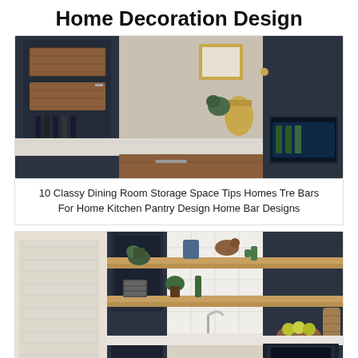Home Decoration Design
[Figure (photo): Dark navy kitchen bar cabinet with open doors revealing wooden wine bottle drawers and bottles, marble countertop, gold fixtures, and a beverage cooler on the right]
10 Classy Dining Room Storage Space Tips Homes Tre Bars For Home Kitchen Pantry Design Home Bar Designs
[Figure (photo): Dark navy kitchen with open wooden shelves holding plants and decorative items, white subway tile backsplash, stainless faucet, bowl of fruit, and undercounter beverage fridge]